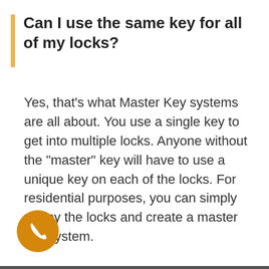Can I use the same key for all of my locks?
Yes, that’s what Master Key systems are all about. You use a single key to get into multiple locks. Anyone without the “master” key will have to use a unique key on each of the locks. For residential purposes, you can simply re-key the locks and create a master key system.
[Figure (illustration): Orange circular phone/call button with white phone handset icon]